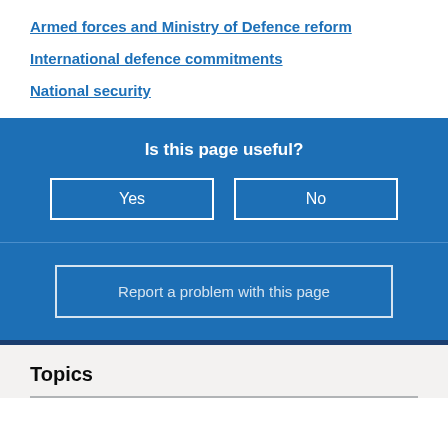Armed forces and Ministry of Defence reform
International defence commitments
National security
Is this page useful?
Yes
No
Report a problem with this page
Topics